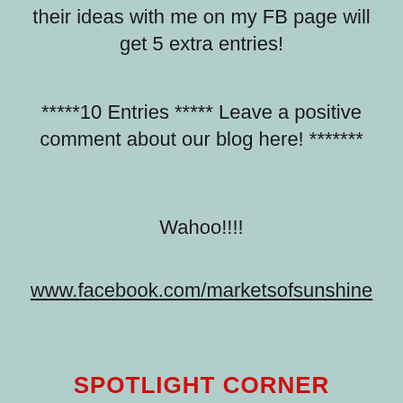their ideas with me on my FB page will get 5 extra entries!
*****10 Entries ***** Leave a positive comment about our blog here! *******
Wahoo!!!!
www.facebook.com/marketsofsunshine
SPOTLIGHT CORNER